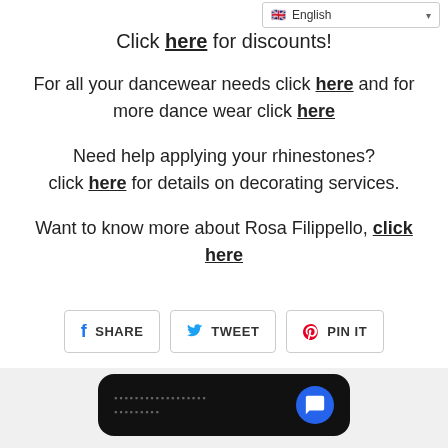English (language selector)
Click here for discounts!
For all your dancewear needs click here and for more dance wear click here
Need help applying your rhinestones? click here for details on decorating services.
Want to know more about Rosa Filippello, click here
[Figure (infographic): Social sharing buttons: SHARE (Facebook), TWEET (Twitter), PIN IT (Pinterest)]
[Figure (other): Dark chat widget with blue speech bubble icon at the bottom of the page]